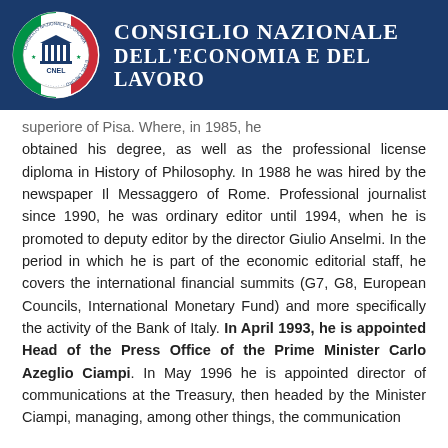[Figure (logo): CNEL - Consiglio Nazionale dell'Economia e del Lavoro official header with circular emblem and text on dark blue background]
superiore of Pisa. Where, in 1985, he obtained his degree, as well as the professional license diploma in History of Philosophy. In 1988 he was hired by the newspaper Il Messaggero of Rome. Professional journalist since 1990, he was ordinary editor until 1994, when he is promoted to deputy editor by the director Giulio Anselmi. In the period in which he is part of the economic editorial staff, he covers the international financial summits (G7, G8, European Councils, International Monetary Fund) and more specifically the activity of the Bank of Italy. In April 1993, he is appointed Head of the Press Office of the Prime Minister Carlo Azeglio Ciampi. In May 1996 he is appointed director of communications at the Treasury, then headed by the Minister Ciampi, managing, among other things, the communication